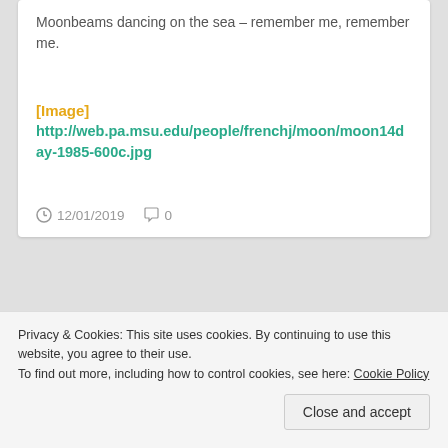Moonbeams dancing on the sea – remember me, remember me.
[Image]
http://web.pa.msu.edu/people/frenchj/moon/moon14day-1985-600c.jpg
12/01/2019  0
Privacy & Cookies: This site uses cookies. By continuing to use this website, you agree to their use.
To find out more, including how to control cookies, see here: Cookie Policy